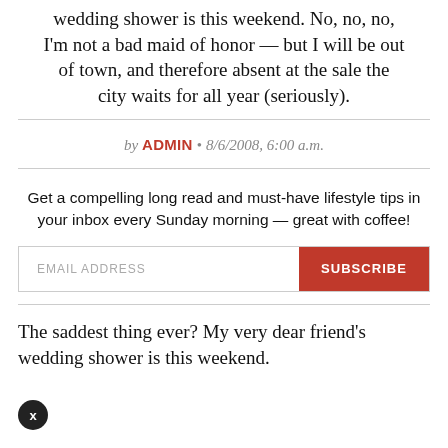wedding shower is this weekend. No, no, no, I'm not a bad maid of honor — but I will be out of town, and therefore absent at the sale the city waits for all year (seriously).
by ADMIN • 8/6/2008, 6:00 a.m.
Get a compelling long read and must-have lifestyle tips in your inbox every Sunday morning — great with coffee!
EMAIL ADDRESS
SUBSCRIBE
The saddest thing ever? My very dear friend's wedding shower is this weekend.